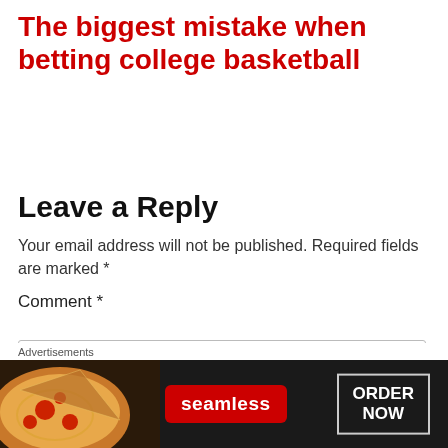The biggest mistake when betting college basketball
Leave a Reply
Your email address will not be published. Required fields are marked *
Comment *
[Figure (illustration): Comment text input box (empty form field)]
Advertisements
[Figure (infographic): Seamless food delivery advertisement banner with pizza image, seamless logo in red, and ORDER NOW button]